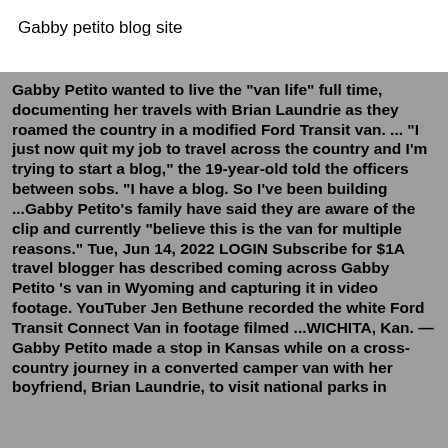Gabby petito blog site
Gabby Petito wanted to live the "van life" full time, documenting her travels with Brian Laundrie as they roamed the country in a modified Ford Transit van. ... "I just now quit my job to travel across the country and I'm trying to start a blog," the 19-year-old told the officers between sobs. "I have a blog. So I've been building ...Gabby Petito's family have said they are aware of the clip and currently "believe this is the van for multiple reasons." Tue, Jun 14, 2022 LOGIN Subscribe for $1A travel blogger has described coming across Gabby Petito 's van in Wyoming and capturing it in video footage. YouTuber Jen Bethune recorded the white Ford Transit Connect Van in footage filmed ...WICHITA, Kan. — Gabby Petito made a stop in Kansas while on a cross-country journey in a converted camper van with her boyfriend, Brian Laundrie, to visit national parks in